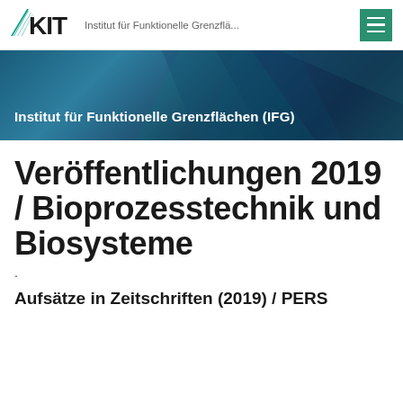Institut für Funktionelle Grenzflä...
[Figure (logo): KIT logo with fan/wedge symbol in black and green]
[Figure (illustration): Teal and blue diagonal banner with shimmer effect]
Institut für Funktionelle Grenzflächen (IFG)
Veröffentlichungen 2019 / Bioprozesstechnik und Biosysteme
.
Aufsätze in Zeitschriften (2019) / PERS